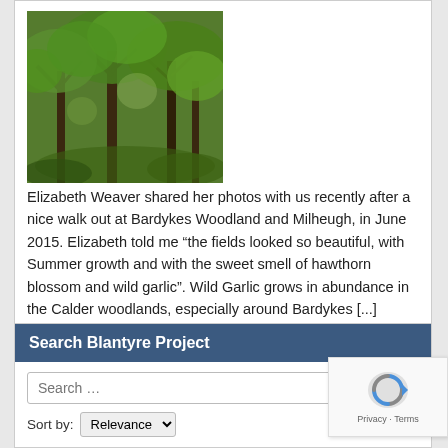[Figure (photo): Photo of woodland trees with dense green foliage at Bardykes Woodland]
Elizabeth Weaver shared her photos with us recently after a nice walk out at Bardykes Woodland and Milheugh, in June 2015. Elizabeth told me “the fields looked so beautiful, with Summer growth and with the sweet smell of hawthorn blossom and wild garlic”. Wild Garlic grows in abundance in the Calder woodlands, especially around Bardykes [...]
Tags: calder, milheugh, weaver, woodland
Read Post
← Older Posts
Search Blantyre Project
Search …
Search
Sort by: Relevance